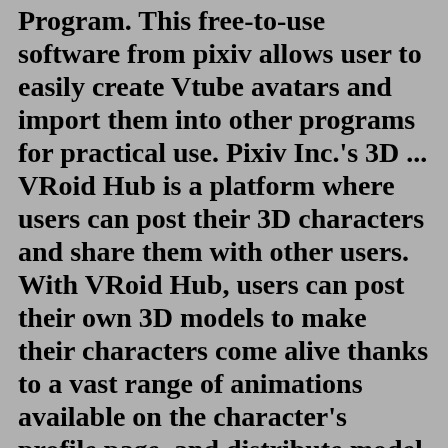Program. This free-to-use software from pixiv allows user to easily create Vtube avatars and import them into other programs for practical use. Pixiv Inc.'s 3D ... VRoid Hub is a platform where users can post their 3D characters and share them with other users. With VRoid Hub, users can post their own 3D models to make their characters come alive thanks to a vast range of animations available on the character's profile page, and distribute model data to other users by setting specific usage conditions. In addition, 3D characters posted on VRoid Hub can ...TERMS OF SERVICE. All prices are in USD. Examples are on the works page. BACKGROUNDS Transparent / simple BGs free, complex BGs cost extra. COMMERCIAL USE +20% of final price for Character Art and Reference Sheets. All prices shown are base prices. Final price may change depending on complexity / usage. A non-refundable down payment of 50% of the final price must be paid before I start work.VTuber Maker provides you with unlimited creativity and vividness through a rich public VTuber avatars